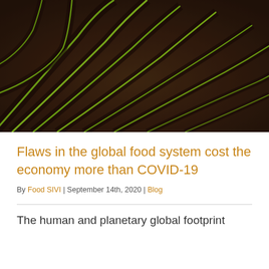[Figure (photo): Aerial/close-up photo of a farm field with rows of young green seedlings growing in dark brown soil, showing curved parallel planting rows receding into the distance.]
Flaws in the global food system cost the economy more than COVID-19
By Food SIVI | September 14th, 2020 | Blog
The human and planetary global footprint